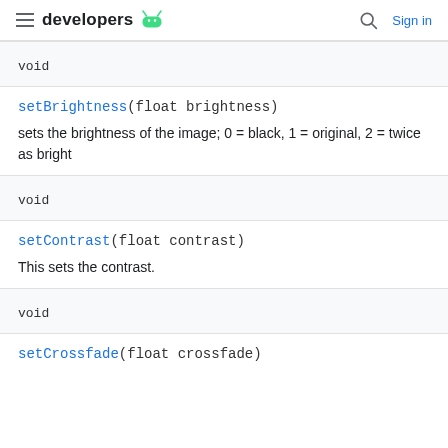developers [android logo] | [search] Sign in
void
setBrightness(float brightness)
sets the brightness of the image; 0 = black, 1 = original, 2 = twice as bright
void
setContrast(float contrast)
This sets the contrast.
void
setCrossfade(float crossfade)